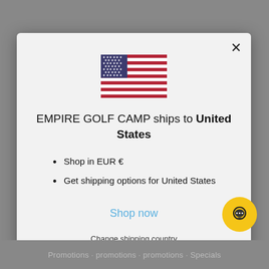[Figure (illustration): US flag icon centered at top of modal dialog]
EMPIRE GOLF CAMP ships to United States
Shop in EUR €
Get shipping options for United States
Shop now
Change shipping country